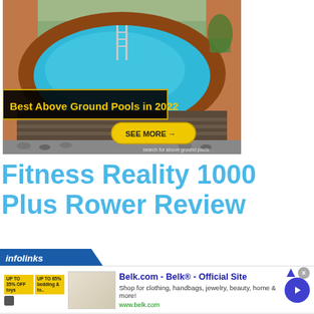[Figure (photo): Above ground swimming pool with octagonal deck surround, stone wall, and ladder. Overlaid text banner reads 'Best Above Ground Pools in 2022' and a yellow 'SEE MORE →' button. Watermark: 'search for above ground pools'.]
Fitness Reality 1000 Plus Rower Review
[Figure (infographic): Infolinks advertisement bar showing 'infolinks' logo, followed by a Belk.com ad: 'Belk.com - Belk® - Official Site' with description 'Shop for clothing, handbags, jewelry, beauty, home & more!' and URL 'www.belk.com'. Has a close (X) button and a blue arrow navigation button.]